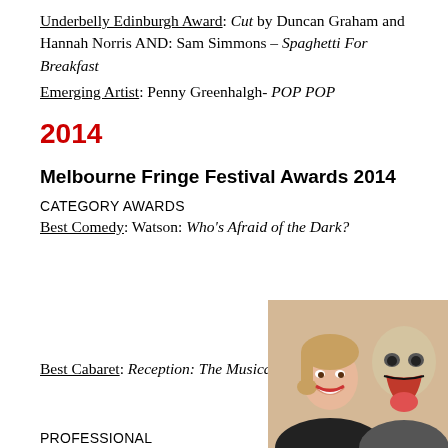Underbelly Edinburgh Award: Cut by Duncan Graham and Hannah Norris AND: Sam Simmons – Spaghetti For Breakfast
Emerging Artist: Penny Greenhalgh- POP POP
2014
Melbourne Fringe Festival Awards 2014
CATEGORY AWARDS
Best Comedy: Watson: Who's Afraid of the Dark?
Best Cabaret: Reception: The Musical
[Figure (photo): Two people posing for a photo, one smiling woman and one person wearing a bald mask with an exaggerated face]
PROFESSIONAL